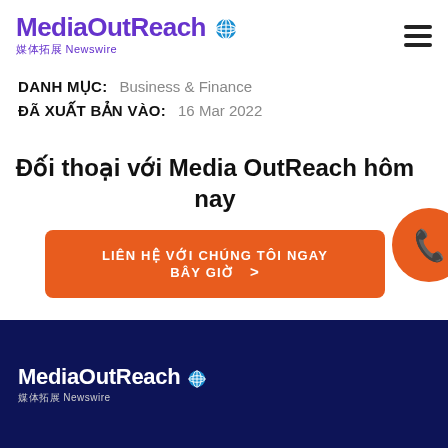[Figure (logo): MediaOutReach Newswire logo with globe icon, purple text, Chinese characters]
DANH MỤC: Business & Finance
ĐÃ XUẤT BẢN VÀO: 16 Mar 2022
Đối thoại với Media OutReach hôm nay
LIÊN HỆ VỚI CHÚNG TÔI NGAY BÂY GIỜ >
[Figure (logo): MediaOutReach Newswire logo white on dark navy footer background]